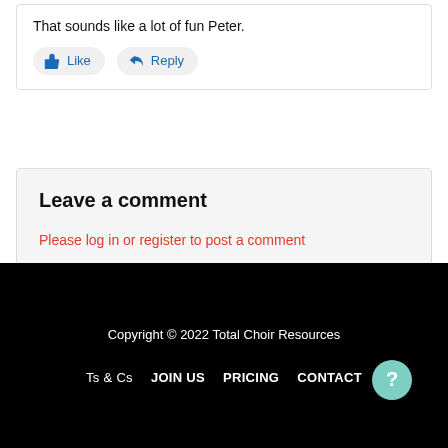That sounds like a lot of fun Peter.
Like  Reply
Leave a comment
Please log in or register to post a comment
Copyright © 2022 Total Choir Resources  Ts & Cs  JOIN US  PRICING  CONTACT